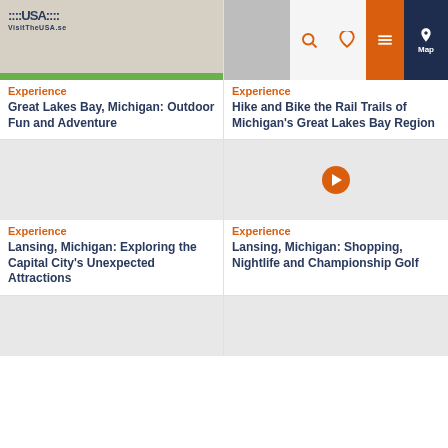[Figure (photo): Top-left card image with VisitTheUSA.se logo and green bar at bottom]
Experience
Great Lakes Bay, Michigan: Outdoor Fun and Adventure
[Figure (screenshot): Top-right card image showing website navigation with search, heart, menu icons and Map button on dark background]
Experience
Hike and Bike the Rail Trails of Michigan's Great Lakes Bay Region
[Figure (photo): Middle-left card image, light grey placeholder]
Experience
Lansing, Michigan: Exploring the Capital City's Unexpected Attractions
[Figure (photo): Middle-right card image with orange play button in center]
Experience
Lansing, Michigan: Shopping, Nightlife and Championship Golf
[Figure (photo): Bottom-left card image, light grey placeholder]
[Figure (photo): Bottom-right card image, light grey placeholder]